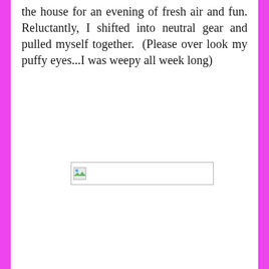the house for an evening of fresh air and fun. Reluctantly, I shifted into neutral gear and pulled myself together.  (Please over look my puffy eyes...I was weepy all week long)
[Figure (photo): Broken/missing image placeholder - small image icon with border, wide rectangular shape]
[Figure (photo): Broken/missing image placeholder - small image icon with border, wide rectangular shape]